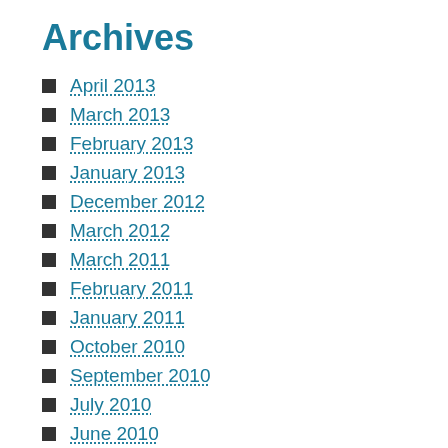Archives
April 2013
March 2013
February 2013
January 2013
December 2012
March 2012
March 2011
February 2011
January 2011
October 2010
September 2010
July 2010
June 2010
April 2010